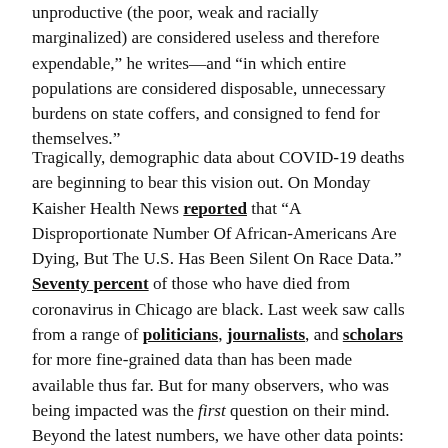unproductive (the poor, weak and racially marginalized) are considered useless and therefore expendable," he writes—and "in which entire populations are considered disposable, unnecessary burdens on state coffers, and consigned to fend for themselves."
Tragically, demographic data about COVID-19 deaths are beginning to bear this vision out. On Monday Kaisher Health News reported that "A Disproportionate Number Of African-Americans Are Dying, But The U.S. Has Been Silent On Race Data." Seventy percent of those who have died from coronavirus in Chicago are black. Last week saw calls from a range of politicians, journalists, and scholars for more fine-grained data than has been made available thus far. But for many observers, who was being impacted was the first question on their mind. Beyond the latest numbers, we have other data points: history, what is visible from news and experience, and media accounts. These are imperfect, but they supply some information, and the implications are grim